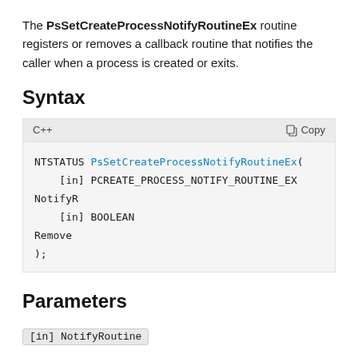The PsSetCreateProcessNotifyRoutineEx routine registers or removes a callback routine that notifies the caller when a process is created or exits.
Syntax
[Figure (screenshot): C++ code block showing the syntax of PsSetCreateProcessNotifyRoutineEx function with parameters [in] PCREATE_PROCESS_NOTIFY_ROUTINE_EX NotifyRoutine and [in] BOOLEAN Remove]
Parameters
[in] NotifyRoutine
A pointer to the PCREATE_PROCESS_NOTIFY_ROUTINE_EX